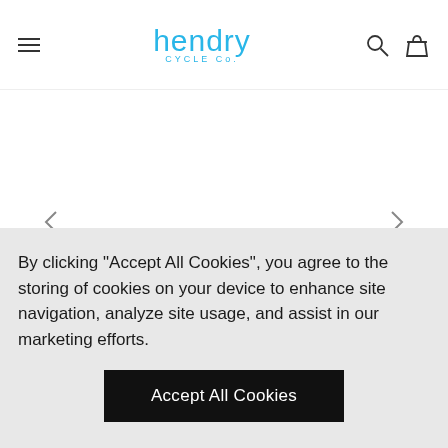hendry CYCLE Co. — navigation header with logo, search icon, and basket icon
[Figure (screenshot): Product image gallery carousel showing bicycle thumbnails. Two faded bicycle outline thumbnails on left, one active dark/black bicycle photo in center, two greyed-out thumbnails on right with right arrow button. Navigation left and right arrows above the thumbnails.]
By clicking “Accept All Cookies”, you agree to the storing of cookies on your device to enhance site navigation, analyze site usage, and assist in our marketing efforts.
Accept All Cookies